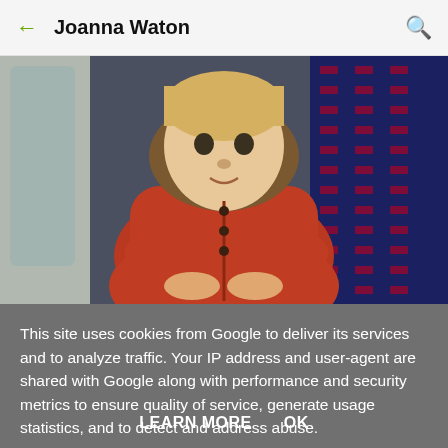← Joanna Waton 🔍
[Figure (photo): A toddler wearing a red/orange puffer coat with fur-trimmed hood sitting on a train seat with blue patterned upholstery, looking toward the camera. A train window is visible to the left.]
This site uses cookies from Google to deliver its services and to analyze traffic. Your IP address and user-agent are shared with Google along with performance and security metrics to ensure quality of service, generate usage statistics, and to detect and address abuse.
LEARN MORE    OK